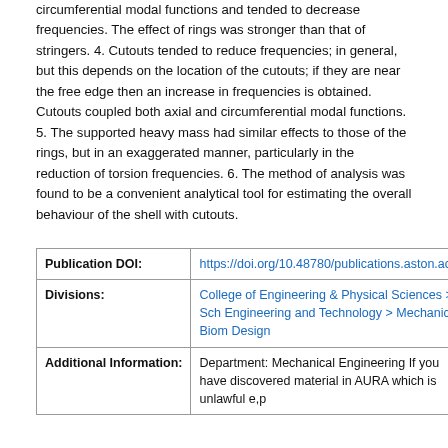circumferential modal functions and tended to decrease frequencies. The effect of rings was stronger than that of stringers. 4. Cutouts tended to reduce frequencies; in general, but this depends on the location of the cutouts; if they are near the free edge then an increase in frequencies is obtained. Cutouts coupled both axial and circumferential modal functions. 5. The supported heavy mass had similar effects to those of the rings, but in an exaggerated manner, particularly in the reduction of torsion frequencies. 6. The method of analysis was found to be a convenient analytical tool for estimating the overall behaviour of the shell with cutouts.
| Field | Value |
| --- | --- |
| Publication DOI: | https://doi.org/10.48780/publications.aston.ac.uk... |
| Divisions: | College of Engineering & Physical Sciences > Sch Engineering and Technology > Mechanical, Biom Design |
| Additional Information: | Department: Mechanical Engineering If you have discovered material in AURA which is unlawful e.p... |